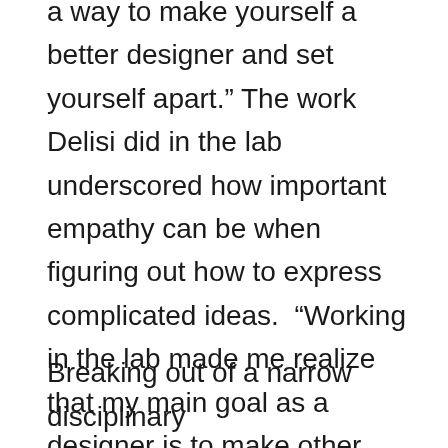a way to make yourself a better designer and set yourself apart.” The work Delisi did in the lab underscored how important empathy can be when figuring out how to express complicated ideas.  “Working in the lab made me realize that my main goal as a designer is to make other people's lives easier and better,” concluded Delisi, who is now putting those skills to work as a graphic designer for a software consultancy.
Breaking out of a narrow disciplinary